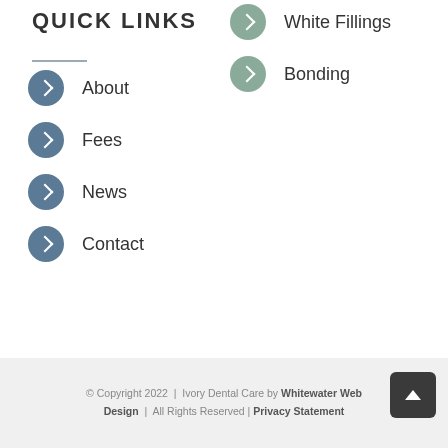QUICK LINKS
White Fillings
Bonding
About
Fees
News
Contact
© Copyright 2022  |  Ivory Dental Care by Whitewater Web Design  |  All Rights Reserved | Privacy Statement